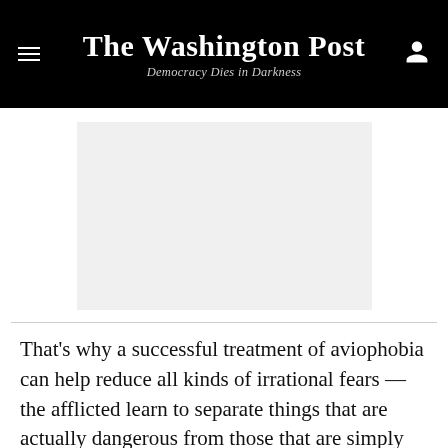The Washington Post
Democracy Dies in Darkness
[Figure (other): Gray advertisement placeholder rectangle]
That's why a successful treatment of aviophobia can help reduce all kinds of irrational fears — the afflicted learn to separate things that are actually dangerous from those that are simply generating a panic reaction for no good reason.